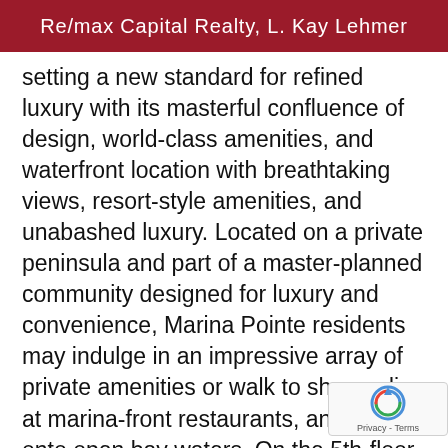Re/max Capital Realty, L. Kay Lehmer
setting a new standard for refined luxury with its masterful confluence of design, world-class amenities, and waterfront location with breathtaking views, resort-style amenities, and unabashed luxury. Located on a private peninsula and part of a master-planned community designed for luxury and convenience, Marina Pointe residents may indulge in an impressive array of private amenities or walk to shops, dine at marina-front restaurants, and boat onto open bay waters. On the 5th-floor amenity level, is an oversized resort-style heated pool and spa with built-in day beds under and shade trees, a covered outdoor pavilio a summer kitchen, and gas grills. Our indoor